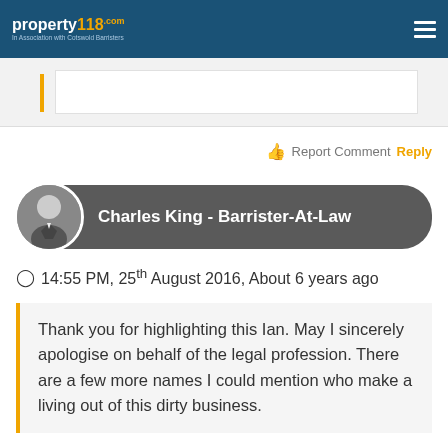property118.com — In Association with Cotswold Barristers
Report Comment Reply
Charles King - Barrister-At-Law
14:55 PM, 25th August 2016, About 6 years ago
Thank you for highlighting this Ian. May I sincerely apologise on behalf of the legal profession. There are a few more names I could mention who make a living out of this dirty business.